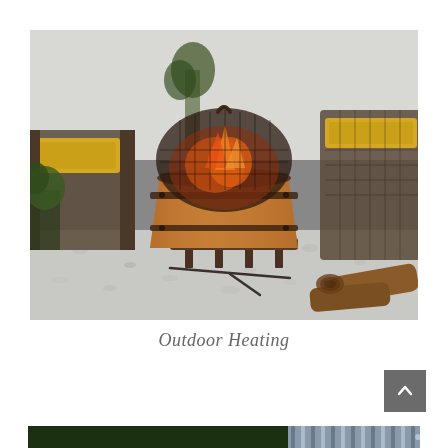[Figure (photo): A copper outdoor fire pit with a dome mesh screen, surrounded by wicker patio chairs with yellow cushions, sitting on white gravel with firewood nearby]
Outdoor Heating
[Figure (photo): Partial bottom strip of another outdoor scene with green plants and striped fabric, partially visible]